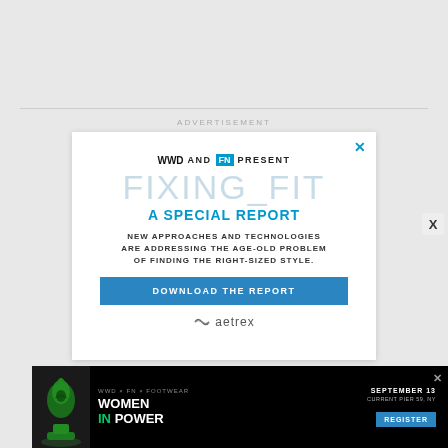ADVERTISEMENT
[Figure (infographic): Advertisement popup for WWD and FN 'Fixing Fit: A Special Report' by Aetrex, with download button]
[Figure (infographic): Bottom banner advertisement for Women In Power event on September 13 at Current Pier 59, NY with Register button]